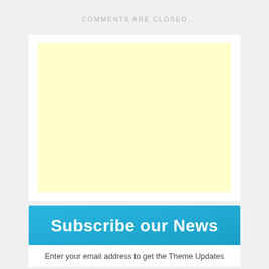COMMENTS ARE CLOSED
[Figure (other): A light yellow rectangular advertisement placeholder box inside a white card container]
Subscribe our News
Enter your email address to get the Theme Updates